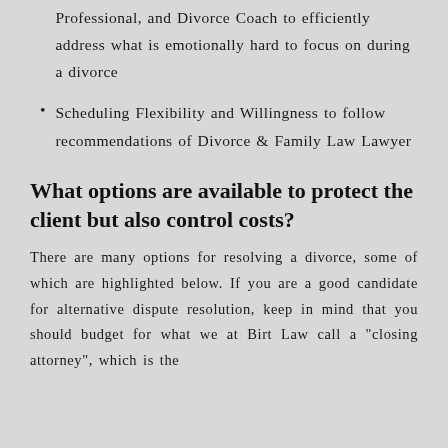collaborating with a Financial Lawyer, Financial Professional, and Divorce Coach to efficiently address what is emotionally hard to focus on during a divorce
Scheduling Flexibility and Willingness to follow recommendations of Divorce & Family Law Lawyer
What options are available to protect the client but also control costs?
There are many options for resolving a divorce, some of which are highlighted below. If you are a good candidate for alternative dispute resolution, keep in mind that you should budget for what we at Birt Law call a "closing attorney", which is the